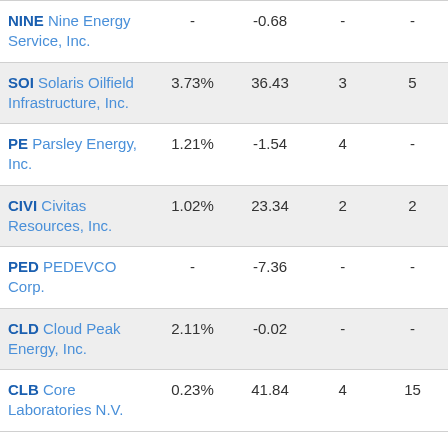| Ticker / Name | Col2 | Col3 | Col4 | Col5 |
| --- | --- | --- | --- | --- |
| NINE Nine Energy Service, Inc. | - | -0.68 | - | - |
| SOI Solaris Oilfield Infrastructure, Inc. | 3.73% | 36.43 | 3 | 5 |
| PE Parsley Energy, Inc. | 1.21% | -1.54 | 4 | - |
| CIVI Civitas Resources, Inc. | 1.02% | 23.34 | 2 | 2 |
| PED PEDEVCO Corp. | - | -7.36 | - | - |
| CLD Cloud Peak Energy, Inc. | 2.11% | -0.02 | - | - |
| CLB Core Laboratories N.V. | 0.23% | 41.84 | 4 | 15 |